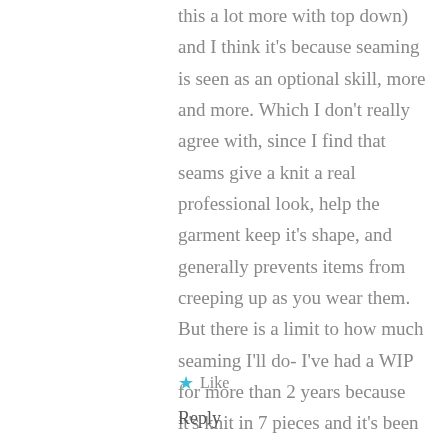this a lot more with top down) and I think it's because seaming is seen as an optional skill, more and more. Which I don't really agree with, since I find that seams give a knit a real professional look, help the garment keep it's shape, and generally prevents items from creeping up as you wear them. But there is a limit to how much seaming I'll do- I've had a WIP for more than 2 years because it's knit in 7 pieces and it's been such a chore to do all that seaming!
Like
Reply